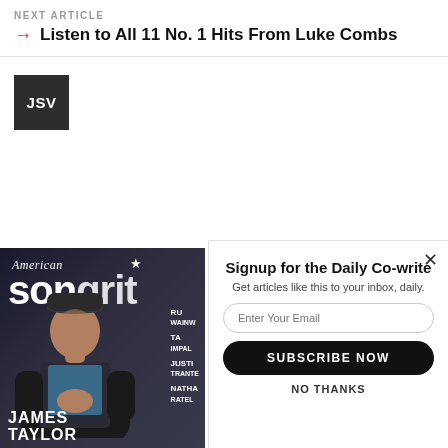NEXT ARTICLE
→ Listen to All 11 No. 1 Hits From Luke Combs
[Figure (other): Dark square avatar box with white initials JSV]
[Figure (other): American Songwriter magazine cover featuring James Taylor, partially visible. Shows magazine title, James Taylor name at bottom, and sidebar text including RU, WAINW, TAM, IMPAL, JUSTI, TRANTER, NATHA, RATEL]
[Figure (screenshot): Email signup popup overlay: 'Signup for the Daily Co-write', 'Get articles like this to your inbox, daily.', email input field, SUBSCRIBE NOW button, NO THANKS link, with X close button]